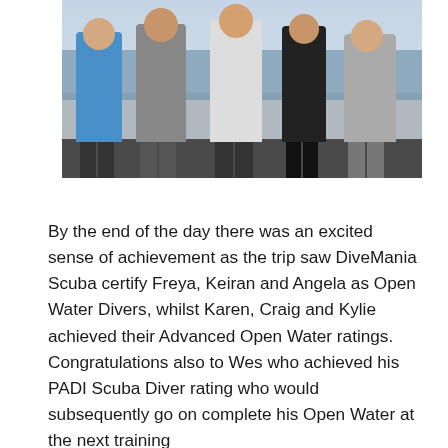[Figure (photo): Group photo of five people standing together outdoors near a body of water, making OK hand gestures. One person wears a blue t-shirt on the left.]
By the end of the day there was an excited sense of achievement as the trip saw DiveMania Scuba certify Freya, Keiran and Angela as Open Water Divers, whilst Karen, Craig and Kylie achieved their Advanced Open Water ratings. Congratulations also to Wes who achieved his PADI Scuba Diver rating who would subsequently go on complete his Open Water at the next training